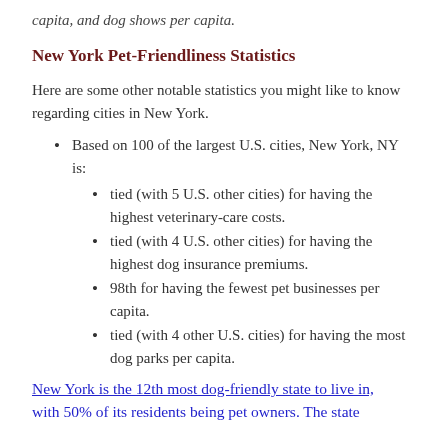capita, and dog shows per capita.
New York Pet-Friendliness Statistics
Here are some other notable statistics you might like to know regarding cities in New York.
Based on 100 of the largest U.S. cities, New York, NY is:
tied (with 5 U.S. other cities) for having the highest veterinary-care costs.
tied (with 4 U.S. other cities) for having the highest dog insurance premiums.
98th for having the fewest pet businesses per capita.
tied (with 4 other U.S. cities) for having the most dog parks per capita.
New York is the 12th most dog-friendly state to live in, with 50% of its residents being pet owners. The state